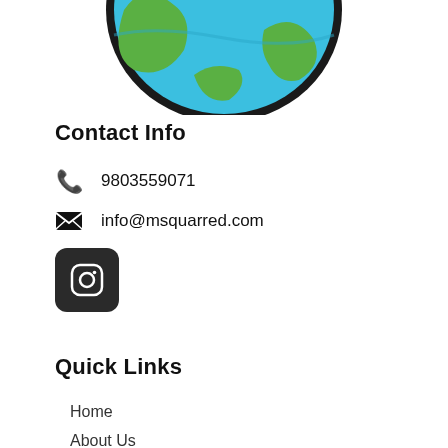[Figure (logo): Bottom half of a globe/earth logo with blue oceans and green landmass, thick black border, partially cropped at the top]
Contact Info
9803559071
info@msquarred.com
[Figure (logo): Instagram icon button — dark rounded square with Instagram camera icon in white]
Quick Links
Home
About Us